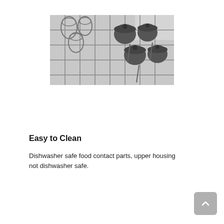[Figure (photo): Black and white photo of a dishwasher rack loaded with glasses, pots, and lids]
Easy to Clean
Dishwasher safe food contact parts, upper housing not dishwasher safe.